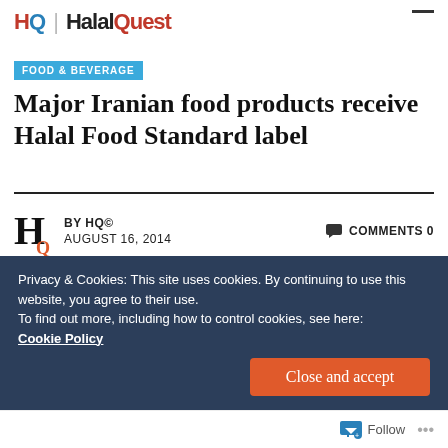HQ HalalQuest
FOOD & BEVERAGE
Major Iranian food products receive Halal Food Standard label
BY HQ© AUGUST 16, 2014    COMMENTS 0
[Figure (logo): Partial green circular Halal logo ring visible]
Privacy & Cookies: This site uses cookies. By continuing to use this website, you agree to their use. To find out more, including how to control cookies, see here: Cookie Policy
Close and accept
Follow